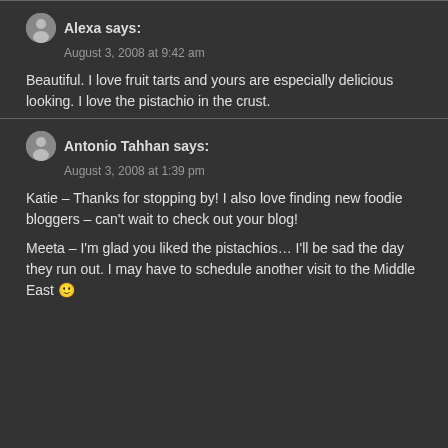Alexa says:
August 3, 2008 at 9:42 am
Beautiful. I love fruit tarts and yours are especially delicious looking. I love the pistachio in the crust.
Antonio Tahhan says:
August 3, 2008 at 1:39 pm
Katie – Thanks for stopping by! I also love finding new foodie bloggers – can't wait to check out your blog!

Meeta – I'm glad you liked the pistachios… I'll be sad the day they run out. I may have to schedule another visit to the Middle East 🙂